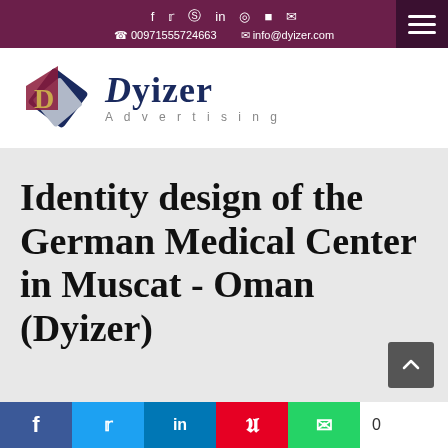f  t  p  in  ig  fl  w  | 00971555724663 | info@dyizer.com
[Figure (logo): Dyizer Advertising logo — geometric diamond shape in dark blue, red and gold, with text 'Dyizer' in dark blue serif font and 'Advertising' in spaced sans-serif below]
Identity design of the German Medical Center in Muscat - Oman (Dyizer)
Facebook  Twitter  LinkedIn  Pinterest  WhatsApp  0